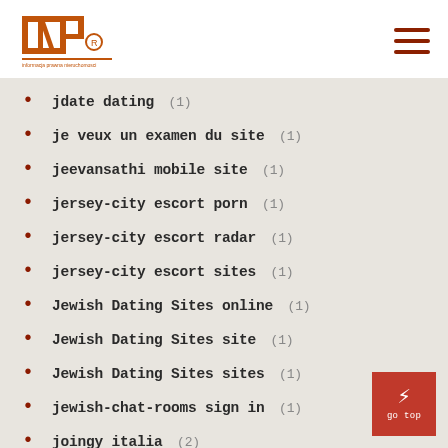INP logo and navigation
jdate dating (1)
je veux un examen du site (1)
jeevansathi mobile site (1)
jersey-city escort porn (1)
jersey-city escort radar (1)
jersey-city escort sites (1)
Jewish Dating Sites online (1)
Jewish Dating Sites site (1)
Jewish Dating Sites sites (1)
jewish-chat-rooms sign in (1)
joingy italia (2)